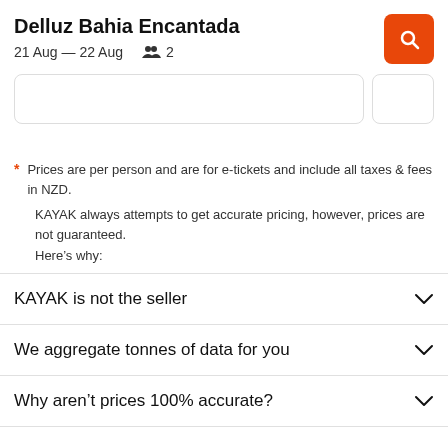Delluz Bahia Encantada
21 Aug – 22 Aug   2
* Prices are per person and are for e-tickets and include all taxes & fees in NZD.
KAYAK always attempts to get accurate pricing, however, prices are not guaranteed.
Here's why:
KAYAK is not the seller
We aggregate tonnes of data for you
Why aren't prices 100% accurate?